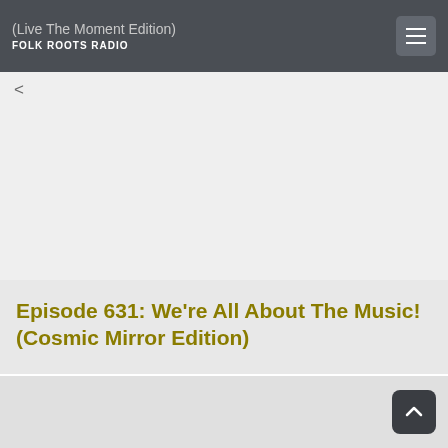FOLK ROOTS RADIO — (Live The Moment Edition)
<
Episode 631: We're All About The Music! (Cosmic Mirror Edition)